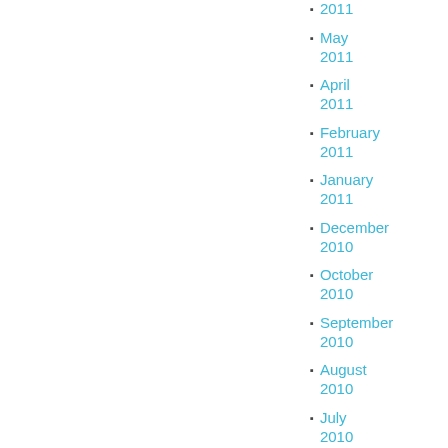2011
May 2011
April 2011
February 2011
January 2011
December 2010
October 2010
September 2010
August 2010
July 2010